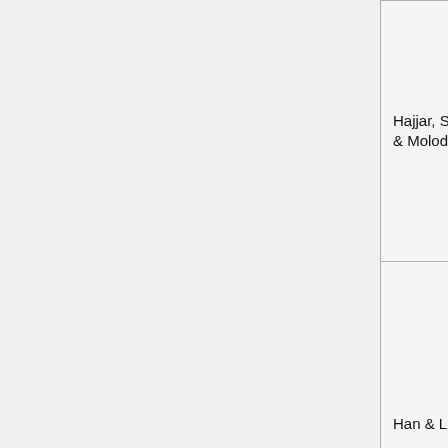| Author | Year | Journal |
| --- | --- | --- |
| Hajjar, Schiller, & Molodan | 1998b | Engineering Structures |
| Han & Li | 2010 | Journal of Construction Steel Research |
| Han & Yan | 2000 | Composite and Hybrid Structures |